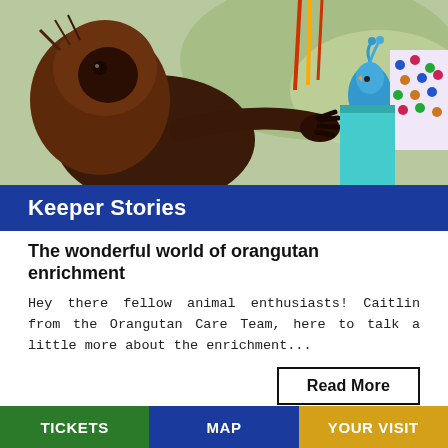[Figure (photo): An orangutan with reddish-brown fur reaching toward colorful enrichment toys including a blue bird figure and a patterned fabric/puzzle item with dots. The scene is bright and playful.]
Keeper Stories
The wonderful world of orangutan enrichment
Hey there fellow animal enthusiasts! Caitlin from the Orangutan Care Team, here to talk a little more about the enrichment...
Read More
[Figure (photo): Partial photo of an animal (appears to be a primate) visible at the bottom of the page, cropped.]
TICKETS   MAP   YOUR VISIT